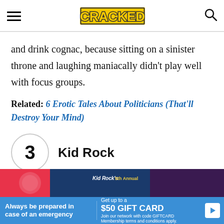CRACKED
and drink cognac, because sitting on a sinister throne and laughing maniacally didn't play well with focus groups.
Related: 6 Erotic Tales About Politicians (That'll Destroy Your Mind)
3  Kid Rock
[Figure (photo): Kid Rock's 5th Annual event banner, March 3-7, 2014]
[Figure (infographic): Advertisement: Always be prepared in case of an emergency. Get up to a $50 GIFT CARD. Join our network with code GIFTCARD. Membership terms and conditions apply.]